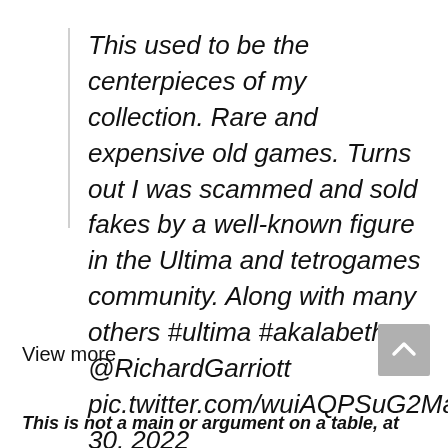This used to be the centerpieces of my collection. Rare and expensive old games. Turns out I was scammed and sold fakes by a well-known figure in the Ultima and tetrogames community. Along with many others #ultima #akalabeth @RichardGarriott pic.twitter.com/wuiAQPSuG2May 30, 2022
View more
This is not a main or argument on a table, at